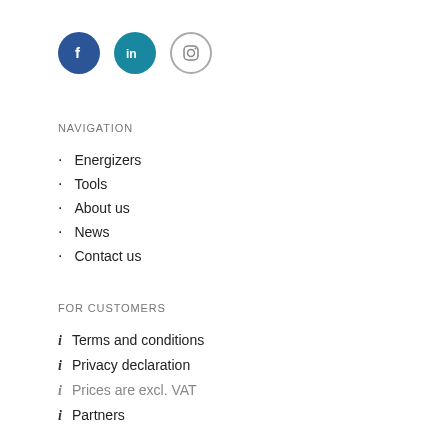[Figure (logo): Three social media icons: Facebook (dark blue circle with 'f'), LinkedIn (teal circle with 'in'), Instagram (outline circle with camera icon)]
NAVIGATION
Energizers
Tools
About us
News
Contact us
FOR CUSTOMERS
Terms and conditions
Privacy declaration
Prices are excl. VAT
Partners